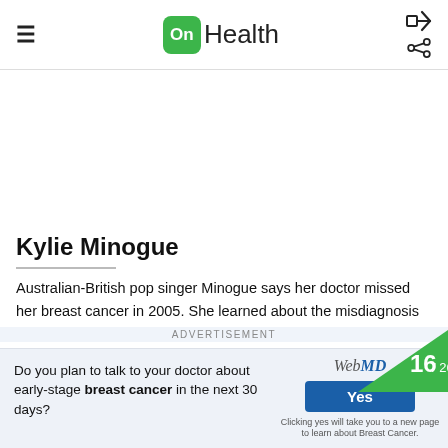OnHealth
[Figure (illustration): Blank advertisement area]
Kylie Minogue
Australian-British pop singer Minogue says her doctor missed her breast cancer in 2005. She learned about the misdiagnosis only when she went back for a second opi…
ADVERTISEMENT
Do you plan to talk to your doctor about early-stage breast cancer in the next 30 days?
WebMD  Yes  Clicking yes will take you to a new page to learn about Breast Cancer.